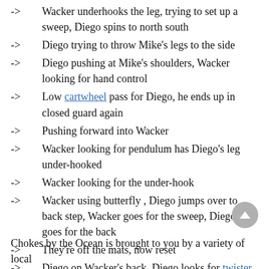-> Wacker underhooks the leg, trying to set up a sweep, Diego spins to north south
-> Diego trying to throw Mike's legs to the side
-> Diego pushing at Mike's shoulders, Wacker looking for hand control
-> Low cartwheel pass for Diego, he ends up in closed guard again
-> Pushing forward into Wacker
-> Wacker looking for pendulum has Diego's leg under-hooked
-> Wacker looking for the under-hook
-> Wacker using butterfly , Diego jumps over to back step, Wacker goes for the sweep, Diego goes for the back
-> They're off the mats, now reset
-> Diego on Wacker's back, Diego looks for twister
-> Time. Decision – Mike Wacker
Chokes by the Ocean is brought to you by a variety of local